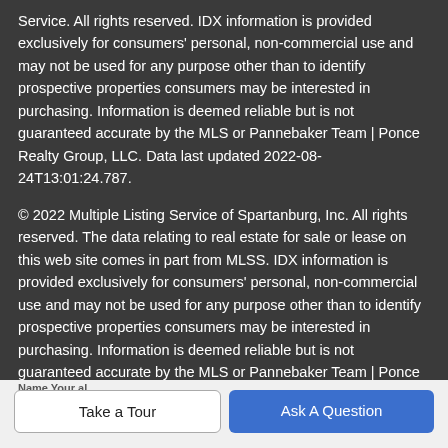Service. All rights reserved. IDX information is provided exclusively for consumers' personal, non-commercial use and may not be used for any purpose other than to identify prospective properties consumers may be interested in purchasing. Information is deemed reliable but is not guaranteed accurate by the MLS or Pannebaker Team | Ponce Realty Group, LLC. Data last updated 2022-08-24T13:01:24.787.
© 2022 Multiple Listing Service of Spartanburg, Inc. All rights reserved. The data relating to real estate for sale or lease on this web site comes in part from MLSS. IDX information is provided exclusively for consumers' personal, non-commercial use and may not be used for any purpose other than to identify prospective properties consumers may be interested in purchasing. Information is deemed reliable but is not guaranteed accurate by the MLS or Pannebaker Team | Ponce Realty Group, LLC. Data last updated: 2022-08-24T12:56:37.307.